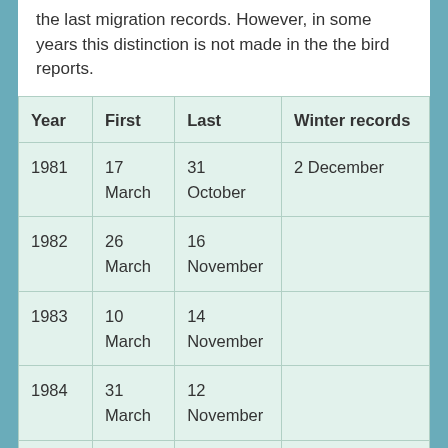the last migration records. However, in some years this distinction is not made in the the bird reports.
| Year | First | Last | Winter records |
| --- | --- | --- | --- |
| 1981 | 17 March | 31 October | 2 December |
| 1982 | 26 March | 16 November |  |
| 1983 | 10 March | 14 November |  |
| 1984 | 31 March | 12 November |  |
| 1985 | 30 March | 21 October |  |